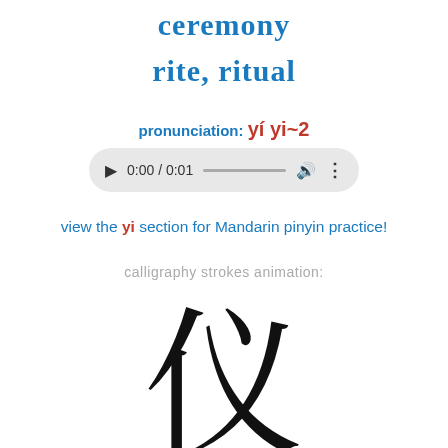ceremony
rite, ritual
pronunciation: yí yi~2
[Figure (other): Audio player widget showing 0:00 / 0:01 with play button, progress bar, volume icon, and options dots]
view the yi section for Mandarin pinyin practice!
calligraphy strokes animation:
[Figure (illustration): Large Chinese character 仪 (yi) shown in black calligraphy style, cropped at bottom of page]